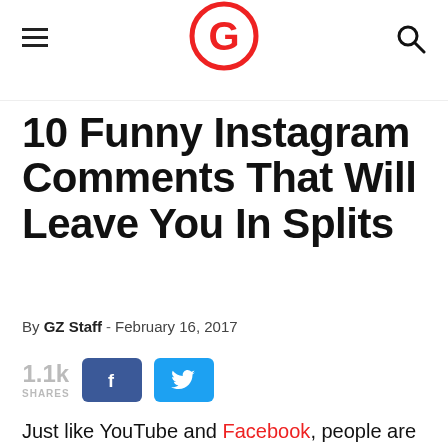G (logo)
10 Funny Instagram Comments That Will Leave You In Splits
By GZ Staff - February 16, 2017
1.1k SHARES [Facebook share button] [Twitter share button]
Just like YouTube and Facebook, people are nailing it with their comments on Instagram. People are so witty and sarcastic that their funny Instagram comments will make you